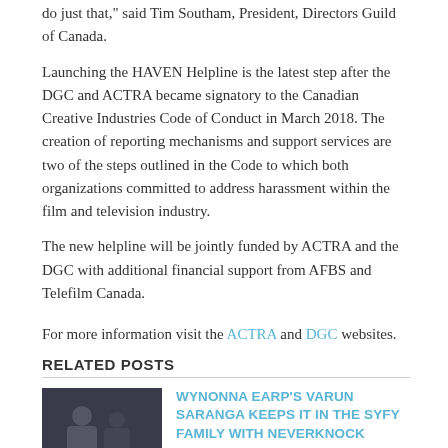do just that," said Tim Southam, President, Directors Guild of Canada.
Launching the HAVEN Helpline is the latest step after the DGC and ACTRA became signatory to the Canadian Creative Industries Code of Conduct in March 2018. The creation of reporting mechanisms and support services are two of the steps outlined in the Code to which both organizations committed to address harassment within the film and television industry.
The new helpline will be jointly funded by ACTRA and the DGC with additional financial support from AFBS and Telefilm Canada.
For more information visit the ACTRA and DGC websites.
RELATED POSTS
WYNONNA EARP'S VARUN SARANGA KEEPS IT IN THE SYFY FAMILY WITH NEVERKNOCK
1 Comment | Oct 13, 2017